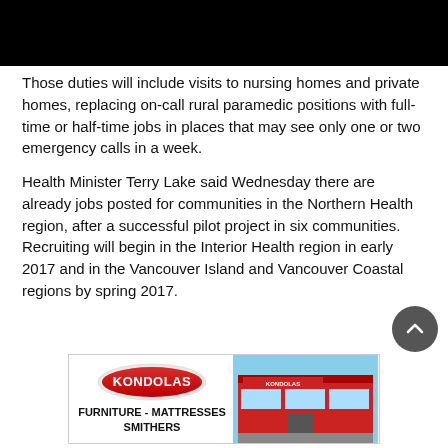[Figure (photo): Black rectangle image at top of page (redacted/blocked image area)]
Those duties will include visits to nursing homes and private homes, replacing on-call rural paramedic positions with full-time or half-time jobs in places that may see only one or two emergency calls in a week.
Health Minister Terry Lake said Wednesday there are already jobs posted for communities in the Northern Health region, after a successful pilot project in six communities. Recruiting will begin in the Interior Health region in early 2017 and in the Vancouver Island and Vancouver Coastal regions by spring 2017.
[Figure (logo): Kondolas advertisement banner: Kondolas logo on left with text FURNITURE - MATTRESSES SMITHERS, and a photo of the Kondolas store building on the right]